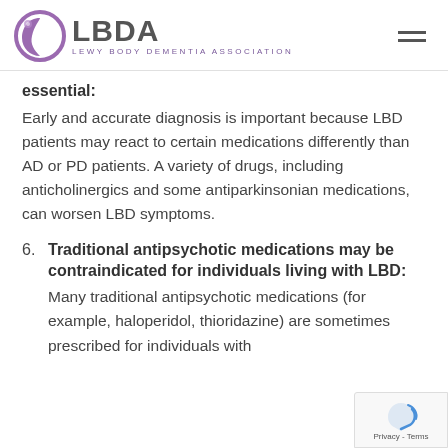LBDA LEWY BODY DEMENTIA ASSOCIATION
essential: Early and accurate diagnosis is important because LBD patients may react to certain medications differently than AD or PD patients. A variety of drugs, including anticholinergics and some antiparkinsonian medications, can worsen LBD symptoms.
6. Traditional antipsychotic medications may be contraindicated for individuals living with LBD: Many traditional antipsychotic medications (for example, haloperidol, thioridazine) are sometimes prescribed for individuals with